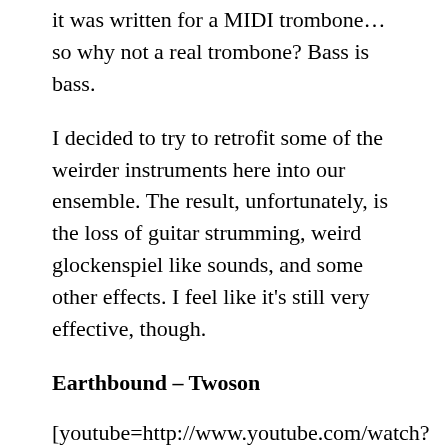it was written for a MIDI trombone… so why not a real trombone?  Bass is bass.
I decided to try to retrofit some of the weirder instruments here into our ensemble.  The result, unfortunately, is the loss of guitar strumming, weird glockenspiel like sounds, and some other effects.  I feel like it's still very effective, though.
Earthbound – Twoson
[youtube=http://www.youtube.com/watch?v=EUce_1Mw6M8]
This was WRITTEN for french horn.  Clearly.  I